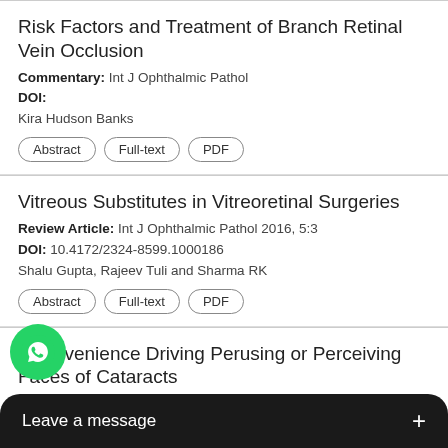Risk Factors and Treatment of Branch Retinal Vein Occlusion
Commentary: Int J Ophthalmic Pathol
DOI:
Kira Hudson Banks
Vitreous Substitutes in Vitreoretinal Surgeries
Review Article: Int J Ophthalmic Pathol 2016, 5:3
DOI: 10.4172/2324-8599.1000186
Shalu Gupta, Rajeev Tuli and Sharma RK
Inconvenience Driving Perusing or Perceiving Faces of Cataracts
n Article: Int J Ophthalmic Pathol
EMie